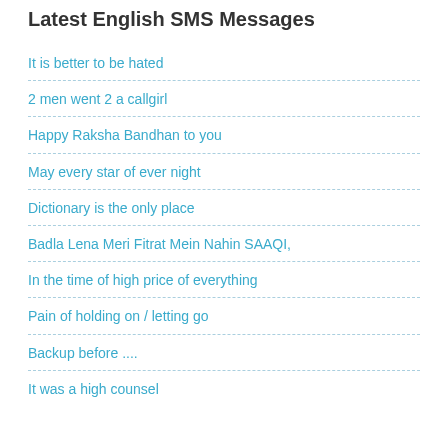Latest English SMS Messages
It is better to be hated
2 men went 2 a callgirl
Happy Raksha Bandhan to you
May every star of ever night
Dictionary is the only place
Badla Lena Meri Fitrat Mein Nahin SAAQI,
In the time of high price of everything
Pain of holding on / letting go
Backup before ....
It was a high counsel